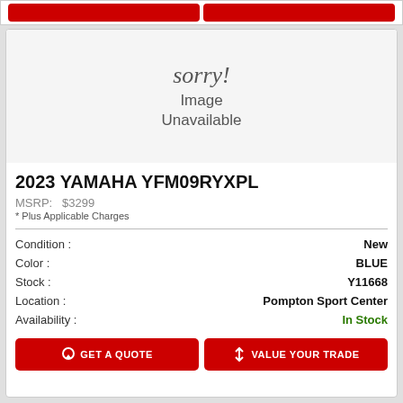[Figure (illustration): Image unavailable placeholder with cursive 'sorry!' text above 'Image Unavailable' in gray]
2023 YAMAHA YFM09RYXPL
MSRP:   $3299
* Plus Applicable Charges
| Field | Value |
| --- | --- |
| Condition : | New |
| Color : | BLUE |
| Stock : | Y11668 |
| Location : | Pompton Sport Center |
| Availability : | In Stock |